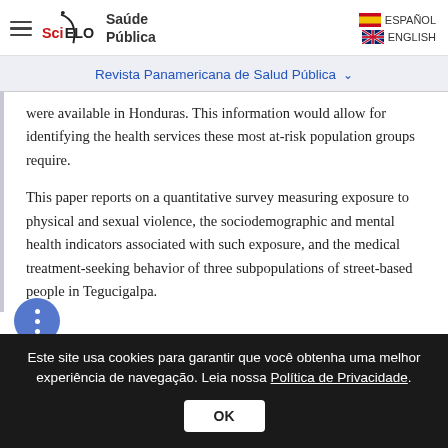SciELO Saúde Pública — ESPAÑOL | ENGLISH
Revista Panamericana de Salud Pública
were available in Honduras. This information would allow for identifying the health services these most at-risk population groups require.
This paper reports on a quantitative survey measuring exposure to physical and sexual violence, the sociodemographic and mental health indicators associated with such exposure, and the medical treatment-seeking behavior of three subpopulations of street-based people in Tegucigalpa.
Este site usa cookies para garantir que você obtenha uma melhor experiência de navegação. Leia nossa Política de Privacidade.